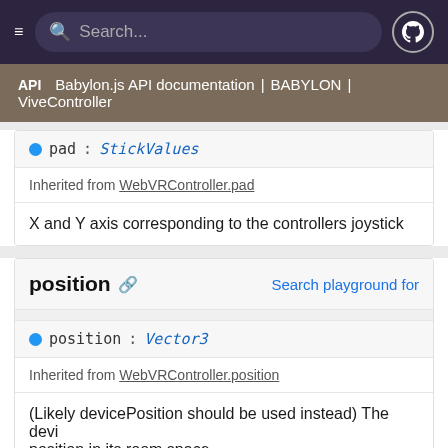Search... [navigation bar with hamburger menu and GitHub icon]
API | Babylon.js API documentation | BABYLON | ViveController
pad: StickValues
Inherited from WebVRController.pad
X and Y axis corresponding to the controllers joystick
position
Search playground for
position: Vector3
Inherited from WebVRController.position
(Likely devicePosition should be used instead) The device position in its room space